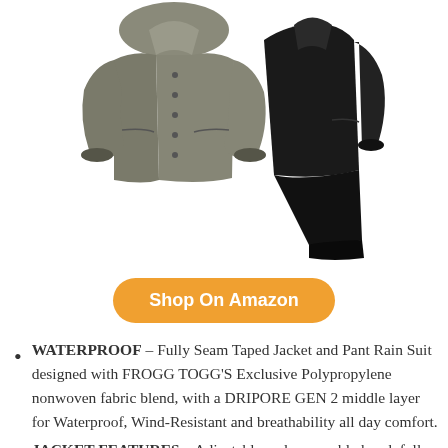[Figure (photo): Product photo showing two rain jackets/suits — a grey jacket on the left and a black jacket/pants on the right]
Shop On Amazon
WATERPROOF – Fully Seam Taped Jacket and Pant Rain Suit designed with FROGG TOGG'S Exclusive Polypropylene nonwoven fabric blend, with a DRIPORE GEN 2 middle layer for Waterproof, Wind-Resistant and breathability all day comfort.
JACKET FEATURES – Adjustable and removable hood, full length parka fits over pants to avoid run off transfer, front zip and Snap down storm flap,